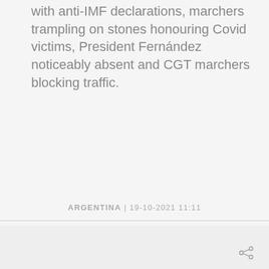with anti-IMF declarations, marchers trampling on stones honouring Covid victims, President Fernández noticeably absent and CGT marchers blocking traffic.
ARGENTINA | 19-10-2021 11:11